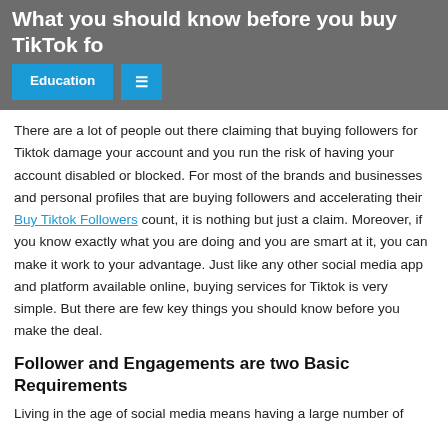What you should know before you buy TikTok fo...
Education  ≡
There are a lot of people out there claiming that buying followers for Tiktok damage your account and you run the risk of having your account disabled or blocked. For most of the brands and businesses and personal profiles that are buying followers and accelerating their Buy Tiktok Followers count, it is nothing but just a claim. Moreover, if you know exactly what you are doing and you are smart at it, you can make it work to your advantage. Just like any other social media app and platform available online, buying services for Tiktok is very simple. But there are few key things you should know before you make the deal.
Follower and Engagements are two Basic Requirements
Living in the age of social media means having a large number of